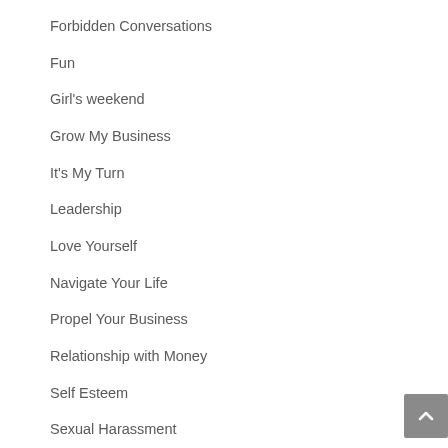Forbidden Conversations
Fun
Girl's weekend
Grow My Business
It's My Turn
Leadership
Love Yourself
Navigate Your Life
Propel Your Business
Relationship with Money
Self Esteem
Sexual Harassment
Take time for yourself
Uncategorized